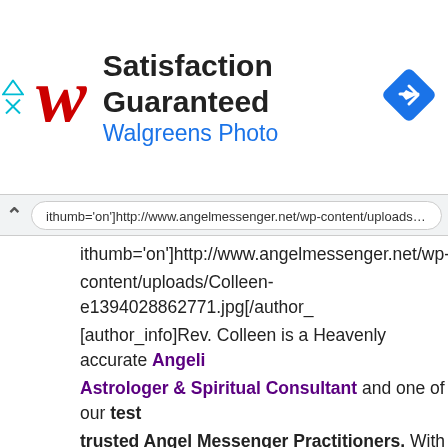[Figure (infographic): Walgreens Photo advertisement banner. Red cursive W logo on the left, bold text 'Satisfaction Guaranteed' and blue 'Walgreens Photo' subtitle. Blue diamond arrow icon on the right. Small cyan triangle/X ad close icons on top-left.]
ithumb='on']http://www.angelmessenger.net/wp-content/uploads/Colleen-e1394028862771.jpg[/author_
[author_info]Rev. Colleen is a Heavenly accurate Angelic Astrologer & Spiritual Consultant and one of our tested trusted Angel Messenger Practitioners. With well over of experience, some say Colleen's intuitive guidance is s changing. Readings with Colleen are a combination of Astrology, Numerology & Tarot. Colleen is available via worldwide via Skype and email. She also offers Audio Em Readings, Soul Healing & Soul Guidance Sessions. Sched Reading with Colleen using the button below.
Read more [/author_info] [/author]
[button link="http://www.angelmessenger.net/videos-b